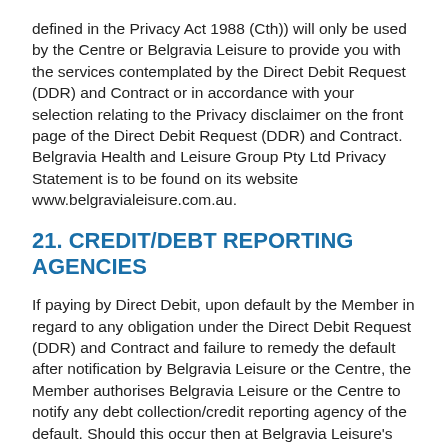defined in the Privacy Act 1988 (Cth)) will only be used by the Centre or Belgravia Leisure to provide you with the services contemplated by the Direct Debit Request (DDR) and Contract or in accordance with your selection relating to the Privacy disclaimer on the front page of the Direct Debit Request (DDR) and Contract. Belgravia Health and Leisure Group Pty Ltd Privacy Statement is to be found on its website www.belgravialeisure.com.au.
21. CREDIT/DEBT REPORTING AGENCIES
If paying by Direct Debit, upon default by the Member in regard to any obligation under the Direct Debit Request (DDR) and Contract and failure to remedy the default after notification by Belgravia Leisure or the Centre, the Member authorises Belgravia Leisure or the Centre to notify any debt collection/credit reporting agency of the default. Should this occur then at Belgravia Leisure's sole discretion it may terminate the Membership Agreement at which time the full outstanding balance for the remainder